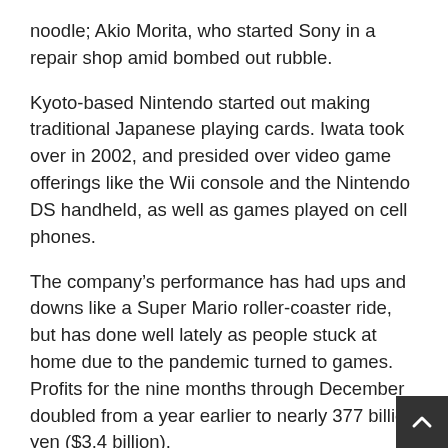noodle; Akio Morita, who started Sony in a repair shop amid bombed out rubble.
Kyoto-based Nintendo started out making traditional Japanese playing cards. Iwata took over in 2002, and presided over video game offerings like the Wii console and the Nintendo DS handheld, as well as games played on cell phones.
The company’s performance has had ups and downs like a Super Mario roller-coaster ride, but has done well lately as people stuck at home due to the pandemic turned to games. Profits for the nine months through December doubled from a year earlier to nearly 377 billion yen ($3.4 billion).
That good fortune might not last as normal activities resume with vaccine rollouts, a change likely to crimp sales to the casual game users who make up Nintendo players rather than the core gamers rival consoles tend to attra